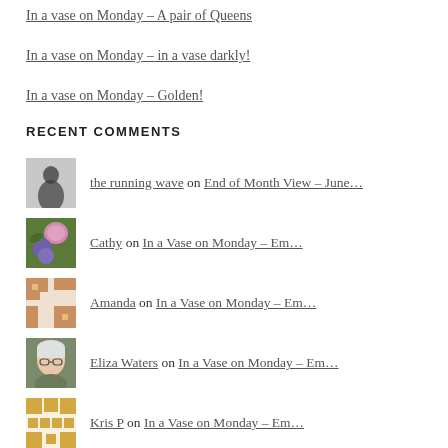In a vase on Monday – A pair of Queens
In a vase on Monday – in a vase darkly!
In a vase on Monday – Golden!
RECENT COMMENTS
the running wave on End of Month View – June…
Cathy on In a Vase on Monday – Em…
Amanda on In a Vase on Monday – Em…
Eliza Waters on In a Vase on Monday – Em…
Kris P on In a Vase on Monday – Em…